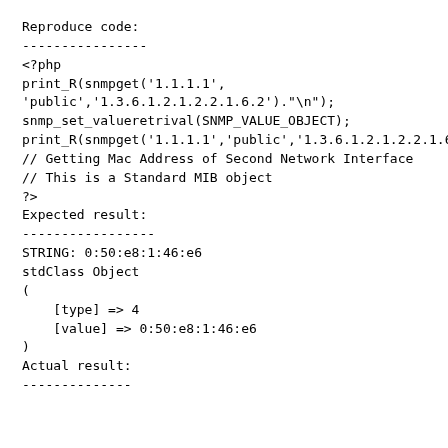Reproduce code:
----------------
<?php
print_R(snmpget('1.1.1.1',
'public','1.3.6.1.2.1.2.2.1.6.2')."\n");
snmp_set_valueretrival(SNMP_VALUE_OBJECT);
print_R(snmpget('1.1.1.1','public','1.3.6.1.2.1.2.2.1.6
// Getting Mac Address of Second Network Interface
// This is a Standard MIB object
?>
Expected result:
-----------------
STRING: 0:50:e8:1:46:e6
stdClass Object
(
    [type] => 4
    [value] => 0:50:e8:1:46:e6
)
Actual result:
--------------